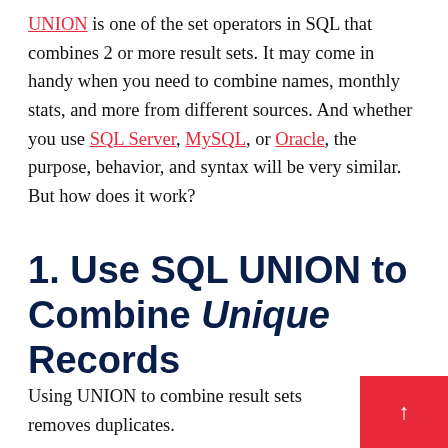UNION is one of the set operators in SQL that combines 2 or more result sets. It may come in handy when you need to combine names, monthly stats, and more from different sources. And whether you use SQL Server, MySQL, or Oracle, the purpose, behavior, and syntax will be very similar. But how does it work?
1. Use SQL UNION to Combine Unique Records
Using UNION to combine result sets removes duplicates.